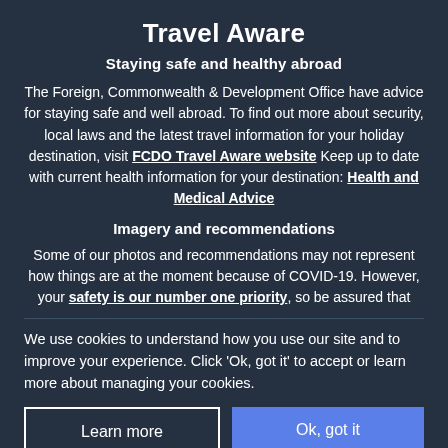Travel Aware
Staying safe and healthy abroad
The Foreign, Commonwealth & Development Office have advice for staying safe and well abroad. To find out more about security, local laws and the latest travel information for your holiday destination, visit FCDO Travel Aware website Keep up to date with current health information for your destination: Health and Medical Advice
Imagery and recommendations
Some of our photos and recommendations may not represent how things are at the moment because of COVID-19. However, your safety is our number one priority, so be assured that
We use cookies to understand how you use our site and to improve your experience. Click 'Ok, got it' to accept or learn more about managing your cookies.